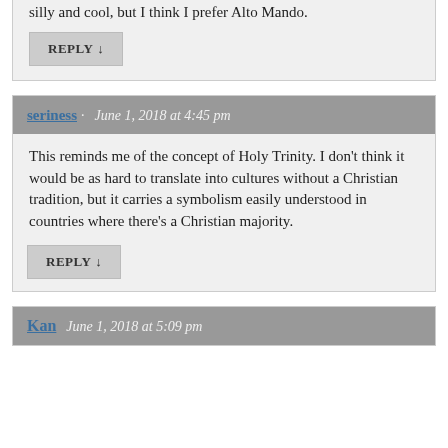silly and cool, but I think I prefer Alto Mando.
REPLY ↓
seriness · June 1, 2018 at 4:45 pm
This reminds me of the concept of Holy Trinity. I don't think it would be as hard to translate into cultures without a Christian tradition, but it carries a symbolism easily understood in countries where there's a Christian majority.
REPLY ↓
Kan · June 1, 2018 at 5:09 pm